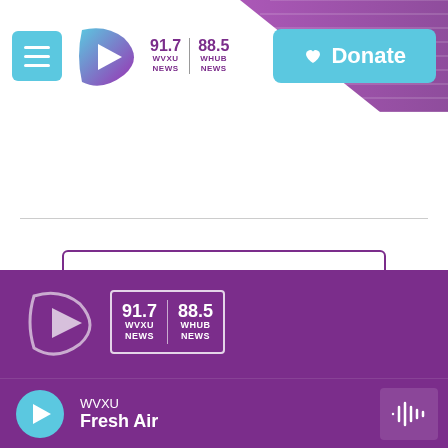WVXU 91.7 NEWS | WHUB 88.5 NEWS | Donate
LISTEN • 10:05
Load More
Support for WVXU is provided by
WVXU 91.7 NEWS | WHUB 88.5 NEWS | Fresh Air